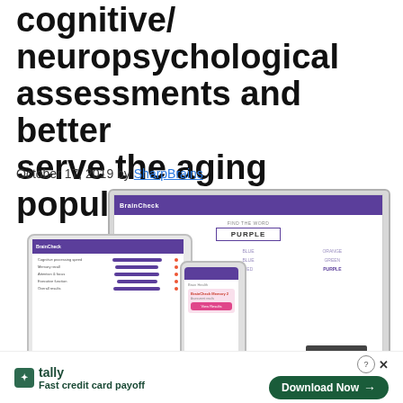cognitive/neuropsychological assessments and better serve the aging population
October 17, 2019 by SharpBrains
[Figure (screenshot): Screenshot of BrainCheck app shown on a desktop monitor, tablet, and smartphone. The monitor displays a word-finding cognitive test with the word PURPLE in a box and color words arranged in a grid. The tablet shows a data entry or results screen. The smartphone shows a card-based health record screen. A Close X button overlay appears on the monitor.]
Fast credit card payoff
Download Now →